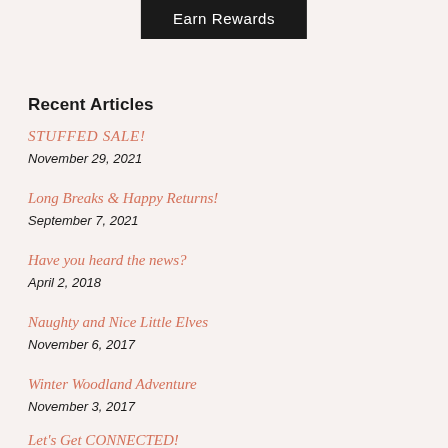Earn Rewards
Recent Articles
STUFFED SALE!
November 29, 2021
Long Breaks & Happy Returns!
September 7, 2021
Have you heard the news?
April 2, 2018
Naughty and Nice Little Elves
November 6, 2017
Winter Woodland Adventure
November 3, 2017
Let's Get CONNECTED!